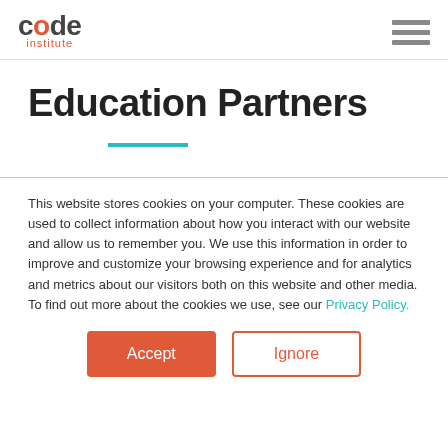code institute
Education Partners
This website stores cookies on your computer. These cookies are used to collect information about how you interact with our website and allow us to remember you. We use this information in order to improve and customize your browsing experience and for analytics and metrics about our visitors both on this website and other media. To find out more about the cookies we use, see our Privacy Policy.
Accept
Ignore